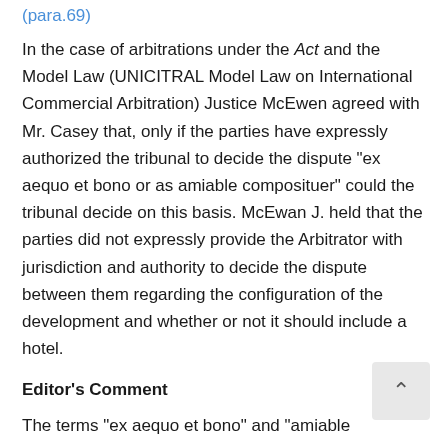(para.69)
In the case of arbitrations under the Act and the Model Law (UNICITRAL Model Law on International Commercial Arbitration) Justice McEwen agreed with Mr. Casey that, only if the parties have expressly authorized the tribunal to decide the dispute “ex aequo et bono or as amiable composituer” could the tribunal decide on this basis. McEwan J. held that the parties did not expressly provide the Arbitrator with jurisdiction and authority to decide the dispute between them regarding the configuration of the development and whether or not it should include a hotel.
Editor’s Comment
The terms “ex aequo et bono” and “amiable